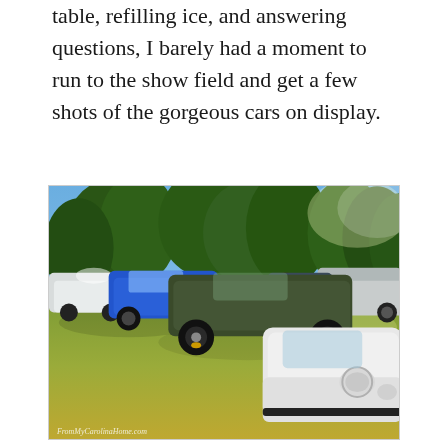table, refilling ice, and answering questions, I barely had a moment to run to the show field and get a few shots of the gorgeous cars on display.
[Figure (photo): A group of Porsche sports cars parked on a grass field at a car show. Visible cars include a white classic 911 in the foreground, a matte dark green modern 911, a blue Porsche, a white convertible, and several other vehicles in the background. Tall evergreen trees are visible behind the cars under a bright blue sky.]